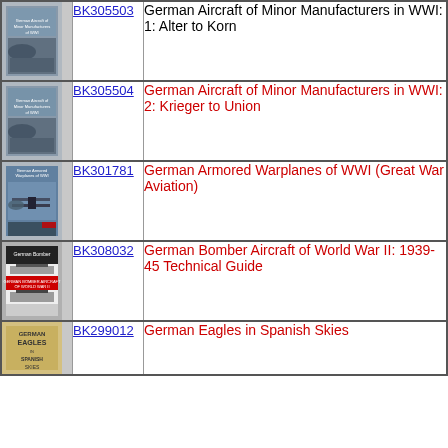| Image | Code | Title |
| --- | --- | --- |
| [book cover] | BK305503 | German Aircraft of Minor Manufacturers in WWI: 1: Alter to Korn |
| [book cover] | BK305504 | German Aircraft of Minor Manufacturers in WWI: 2: Krieger to Union |
| [book cover] | BK301781 | German Armored Warplanes of WWI (Great War Aviation) |
| [book cover] | BK308032 | German Bomber Aircraft of World War II: 1939-45 Technical Guide |
| [book cover] | BK299012 | German Eagles in Spanish Skies |